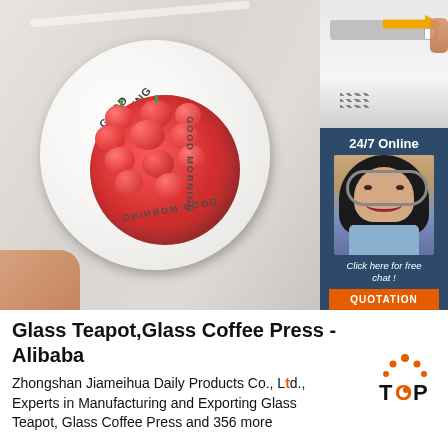[Figure (photo): Photo of a white plate with 'GOOD MORNING' text holding red cherry tomatoes covered in plastic wrap, held by a hand. Marble surface background.]
[Figure (photo): Top-right product image showing plastic wrap dispenser with orange arrow indicator.]
[Figure (photo): 24/7 Online chat widget with smiling female customer service agent wearing headset. Dark blue background. Text: '24/7 Online', 'Click here for free chat!', 'QUOTATION' button.]
Glass Teapot,Glass Coffee Press - Alibaba
Zhongshan Jiameihua Daily Products Co., Ltd., Experts in Manufacturing and Exporting Glass Teapot, Glass Coffee Press and 356 more